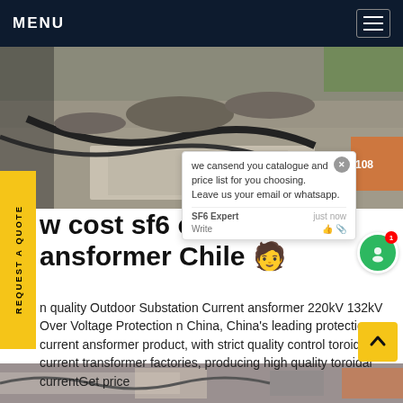MENU
[Figure (photo): Outdoor electrical substation construction site with cables, gravel, and concrete slabs visible]
REQUEST A QUOTE
w cost sf6 current ansformer Chile
we cansend you catalogue and price list for you choosing. Leave us your email or whatsapp.
n quality Outdoor Substation Current ansformer 220kV 132kV Over Voltage Protection n China, China's leading protection current ansformer product, with strict quality control toroidal current transformer factories, producing high quality toroidal currentGet price
[Figure (photo): Bottom strip showing partial view of electrical transformer equipment]